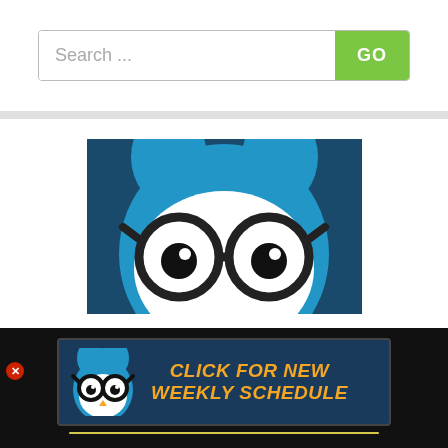[Figure (screenshot): Search bar with placeholder text 'Search ...' and a green GO button]
[Figure (illustration): Blue cartoon owl with large black-rimmed glasses, cropped to show upper portion (eyes and top of head), on a dark teal background]
[Figure (infographic): Banner advertisement showing a small blue owl with glasses on the left and bold orange italic text 'CLICK FOR NEW WEEKLY SCHEDULE' on a dark navy background, with a yellow underline]